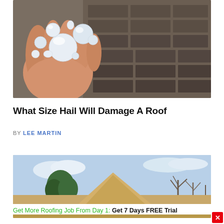[Figure (photo): A hand holding several large hailstones of varying sizes, with a dark asphalt shingle roof visible in the background]
What Size Hail Will Damage A Roof
BY LEE MARTIN
[Figure (photo): A large pile of sand or gravel with trees and cloudy sky in the background, partially visible roofing job site]
Get More Roofing Job From Day 1: Get 7 Days FREE Trial